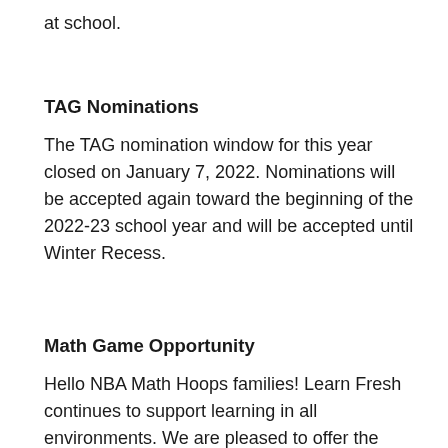at school.
TAG Nominations
The TAG nomination window for this year closed on January 7, 2022. Nominations will be accepted again toward the beginning of the 2022-23 school year and will be accepted until Winter Recess.
Math Game Opportunity
Hello NBA Math Hoops families! Learn Fresh continues to support learning in all environments. We are pleased to offer the physical NBA Math Hoops board game for distribution at no cost to families in the U.S. Please complete the form to